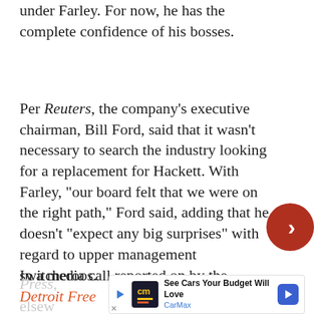under Farley. For now, he has the complete confidence of his bosses.
Per Reuters, the company's executive chairman, Bill Ford, said that it wasn't necessary to search the industry looking for a replacement for Hackett. With Farley, “our board felt that we were on the right path,” Ford said, adding that he doesn’t “expect any big surprises” with regard to upper management switcheroos.
In a media call reported on by the Detroit Free Press, [advertisement overlay] ng elsew[cut off]